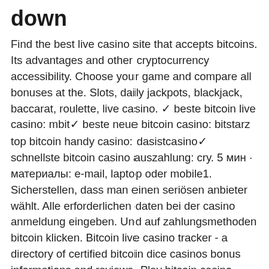down
Find the best live casino site that accepts bitcoins. Its advantages and other cryptocurrency accessibility. Choose your game and compare all bonuses at the. Slots, daily jackpots, blackjack, baccarat, roulette, live casino. ✓ beste bitcoin live casino: mbit✓ beste neue bitcoin casino: bitstarz top bitcoin handy casino: dasistcasino✓ schnellste bitcoin casino auszahlung: cry. 5 мин · материалы: e-mail, laptop oder mobile1. Sicherstellen, dass man einen seriösen anbieter wählt. Alle erforderlichen daten bei der casino anmeldung eingeben. Und auf zahlungsmethoden bitcoin klicken. Bitcoin live casino tracker - a directory of certified bitcoin dice casinos bonus informations and reviews. Play bitcoin casino online games - gamble more than 2000 casino games on cryptovegas. Sign up today and get your welcome bonus to play with btc, eth, ltc,.